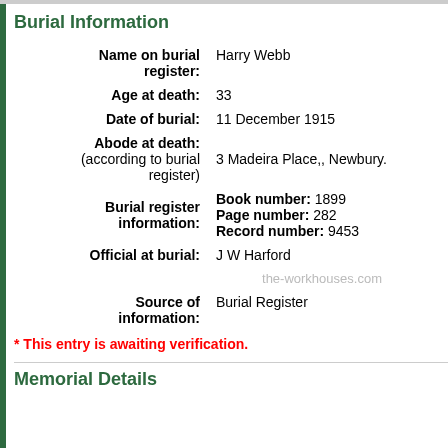Burial Information
| Field | Value |
| --- | --- |
| Name on burial register: | Harry Webb |
| Age at death: | 33 |
| Date of burial: | 11 December 1915 |
| Abode at death: (according to burial register) | 3 Madeira Place,, Newbury. |
| Burial register information: | Book number: 1899
Page number: 282
Record number: 9453 |
| Official at burial: | J W Harford |
| Source of information: | Burial Register |
* This entry is awaiting verification.
Memorial Details